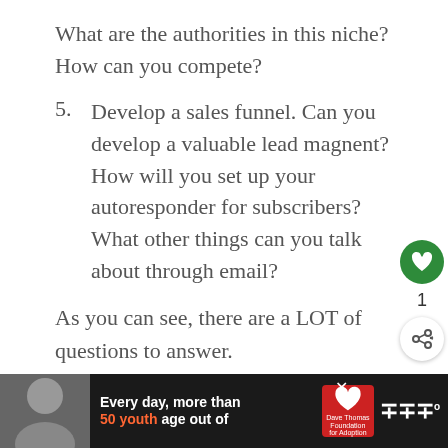What are the authorities in this niche? How can you compete?
5. Develop a sales funnel. Can you develop a valuable lead magnent? How will you set up your autoresponder for subscribers? What other things can you talk about through email?
As you can see, there are a LOT of questions to answer.
[Figure (infographic): UI overlay elements: green heart/like button, count '1', share button, 'WHAT'S NEXT' widget with thumbnail and title 'What Is Amazon MK...']
[Figure (infographic): Bottom advertisement bar with dark background, woman photo, text 'Every day, more than 50 youth age out of', Dave Thomas Foundation for Adoption logo, weather widget]